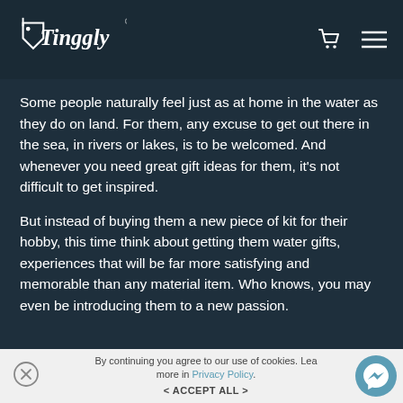Tinggly
Some people naturally feel just as at home in the water as they do on land. For them, any excuse to get out there in the sea, in rivers or lakes, is to be welcomed. And whenever you need great gift ideas for them, it's not difficult to get inspired.
But instead of buying them a new piece of kit for their hobby, this time think about getting them water gifts, experiences that will be far more satisfying and memorable than any material item. Who knows, you may even be introducing them to a new passion.
By continuing you agree to our use of cookies. Learn more in Privacy Policy.
< ACCEPT ALL >